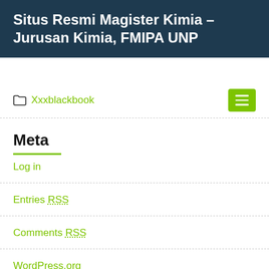Situs Resmi Magister Kimia – Jurusan Kimia, FMIPA UNP
Xxxblackbook
Meta
Log in
Entries RSS
Comments RSS
WordPress.org